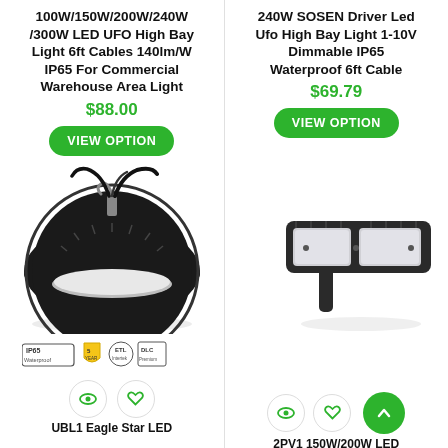100W/150W/200W/240W/300W LED UFO High Bay Light 6ft Cables 140lm/W IP65 For Commercial Warehouse Area Light
$88.00
VIEW OPTION
240W SOSEN Driver Led Ufo High Bay Light 1-10V Dimmable IP65 Waterproof 6ft Cable
$69.79
VIEW OPTION
[Figure (photo): UFO LED high bay light product photo - circular black fixture with hanging cables]
[Figure (photo): LED street/area light fixture product photo - rectangular black fixture on mounting arm]
[Figure (other): Certification badges: IP65 Waterproof, 5-year warranty shield, ETL listed, DLC listed]
UBL1 Eagle Star LED
2PV1 150W/200W LED